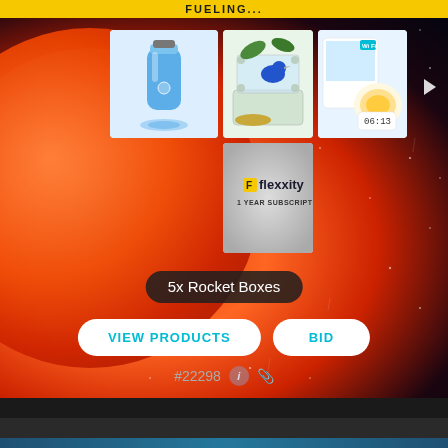FUELING...
[Figure (screenshot): Product auction card showing a blue water bottle, window bird feeder with blue bird, wake-up light alarm clock, and Flexxity 1 Year Subscription on a dark space background with planet]
5x Rocket Boxes
VIEW PRODUCTS
BID
#22298